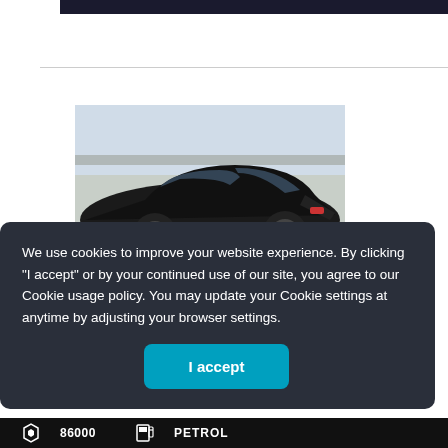[Figure (other): Dark top navigation bar of a website]
[Figure (photo): A dark/black sedan car photographed inside a car dealership showroom, viewed from the rear-left angle]
We use cookies to improve your website experience. By clicking "I accept" or by your continued use of our site, you agree to our Cookie usage policy. You may update your Cookie settings at anytime by adjusting your browser settings.
I accept
86000   PETROL